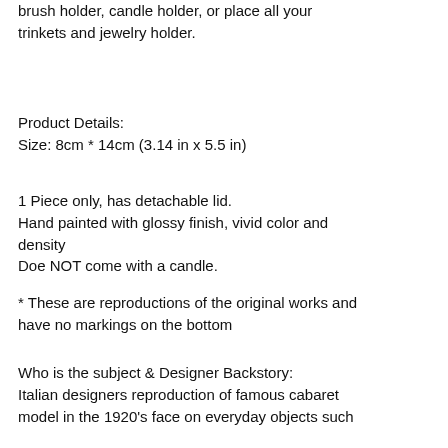You can use this Euro cup with lid as a makeup brush holder, candle holder, or place all your trinkets and jewelry holder.
Product Details:
Size: 8cm * 14cm (3.14 in x 5.5 in)
1 Piece only, has detachable lid.
Hand painted with glossy finish, vivid color and density
Doe NOT come with a candle.
* These are reproductions of the original works and have no markings on the bottom
Who is the subject & Designer Backstory:
Italian designers reproduction of famous cabaret model in the 1920's face on everyday objects such as plates, mugs and stickers that blends a flair for surrealist art and homeware, with humour and elegance.
She is known as the vintage chic girl, antique lover girl. Always seen in the celebrity bedrooms, living